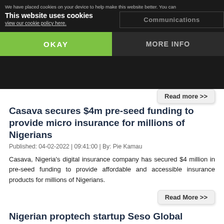This website uses cookies | We have placed cookies on your device to help make this website better. You can view our cookie policy here. | OKAY | MORE INFO
Casava secures $4m pre-seed funding to provide micro insurance for millions of Nigerians
Published: 04-02-2022 | 09:41:00 | By: Pie Kamau
Casava, Nigeria's digital insurance company has secured $4 million in pre-seed funding to provide affordable and accessible insurance products for millions of Nigerians.
Nigerian proptech startup Seso Global launches regional offices in US and the UK
Published: 31-01-2022 | 14:54:53 | By: Pie Kamau
To better engage with communities in the diaspora, Nigerian proptech startup Seso Global has launched